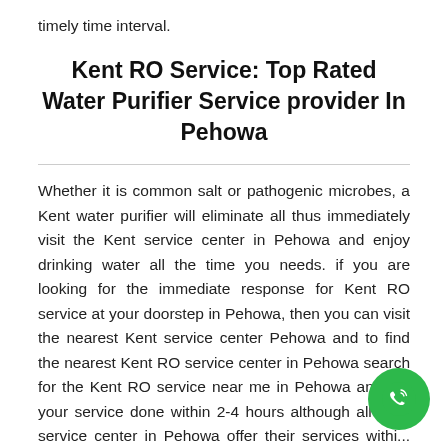timely time interval.
Kent RO Service: Top Rated Water Purifier Service provider In Pehowa
Whether it is common salt or pathogenic microbes, a Kent water purifier will eliminate all thus immediately visit the Kent service center in Pehowa and enjoy drinking water all the time you needs. if you are looking for the immediate response for Kent RO service at your doorstep in Pehowa, then you can visit the nearest Kent service center Pehowa and to find the nearest Kent RO service center in Pehowa search for the Kent RO service near me in Pehowa and get your service done within 2-4 hours although all Kent service center in Pehowa offer their services within hours booking water purifier services from the nearest